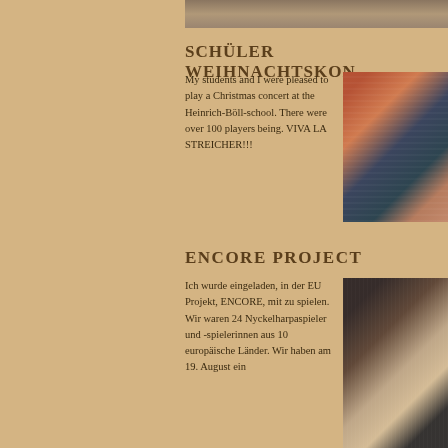[Figure (photo): Top strip of a photo showing people or a scene, partially visible at top of page]
SCHÜLER WEIHNACHTSKON
My students and I were pleased to play a Christmas concert at the Heinrich-Böll-school. There were over 100 players being. VIVA LA STREICHER!!!
[Figure (photo): Concert hall photo showing over 100 students playing music at the Heinrich-Böll-school Christmas concert]
ENCORE PROJECT
Ich wurde eingeladen, in der EU Projekt, ENCORE, mit zu spielen. Wir waren 24 Nyckelharpaspieler und -spielerinnen aus 10 europäische Länder. Wir haben am 19. August ein
[Figure (photo): Photo of musicians performing at the ENCORE EU project event, showing performers on a decorated stage]